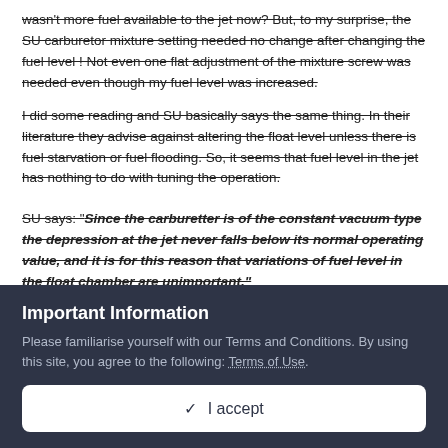wasn't more fuel available to the jet now?  But, to my surprise, the SU carburetor mixture setting needed no change after changing the fuel level !  Not even one flat adjustment of the mixture screw was needed even though my fuel level was increased.
I did some reading and SU basically says the same thing.  In their literature they advise against altering the float level unless there is fuel starvation or fuel flooding.  So, it seems that fuel level in the jet has nothing to do with tuning the operation.
SU says: "Since the carburetter is of the constant vacuum type the depression at the jet never falls below its normal operating value, and it is for this reason that variations of fuel level in the float chamber are unimportant."
Important Information
Please familiarise yourself with our Terms and Conditions. By using this site, you agree to the following: Terms of Use.
✓  I accept